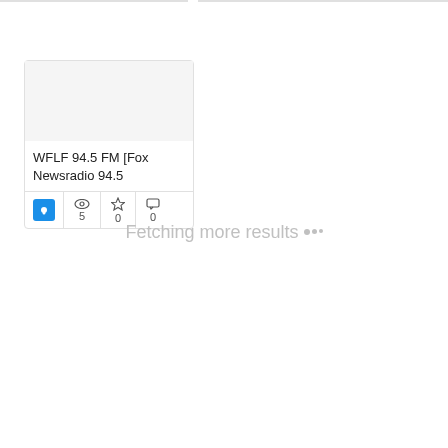[Figure (screenshot): A card UI element showing WFLF 94.5 FM [Fox Newsradio 94.5] with a blue icon box, eye icon with count 5, star icon with count 0, and speech bubble icon with count 0]
WFLF 94.5 FM [Fox Newsradio 94.5]
Fetching more results